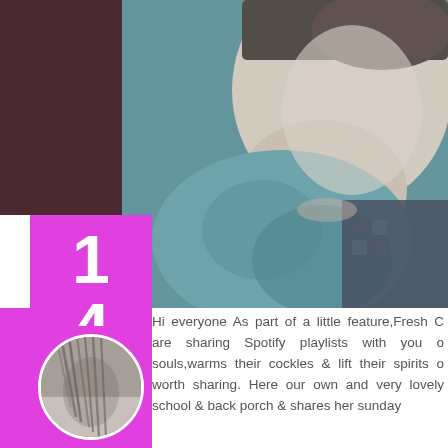[Figure (photo): Close-up photo of a person's face/neck with dark teal/blue toned clothing, cropped, with vintage filter effect]
14
JAN
2015
[Figure (photo): Small circular avatar photo of a person with hair covering face, black and white/desaturated]
Hi everyone As part of a little feature,Fresh G are sharing Spotify playlists with you o souls,warms their cockles & lift their spirits o worth sharing. Here our own and very lovely school & back porch & shares her sunday